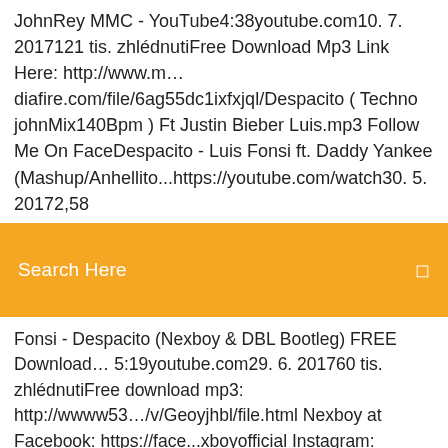JohnRey MMC - YouTube4:38youtube.com10. 7. 2017121 tis. zhlédnutiFree Download Mp3 Link Here: http://www.m…diafire.com/file/6ag55dc1ixfxjql/Despacito ( Techno johnMix140Bpm ) Ft Justin Bieber Luis.mp3 Follow Me On FaceDespacito - Luis Fonsi ft. Daddy Yankee (Mashup/Anhellito...https://youtube.com/watch30. 5. 20172,58
Search Here
Fonsi - Despacito (Nexboy & DBL Bootleg) FREE Download…5:19youtube.com29. 6. 201760 tis. zhlédnutiFree download mp3: http://wwww53…/v/Geoyjhbl/file.html Nexboy at Facebook: https://face...xboyofficial Instagram: @nexboy_music snapchatDespacito Song Download In French | MP3 Downloadhttps://cellomusicana.com/despacito-song-download-in-french.htmlDespacito Song Download In French is popular Free songs Mp3. You can download or play Despacito Song Download In French with best mp3 quality online streaming on MP3 Download Despacito Full Song Di Song Download in